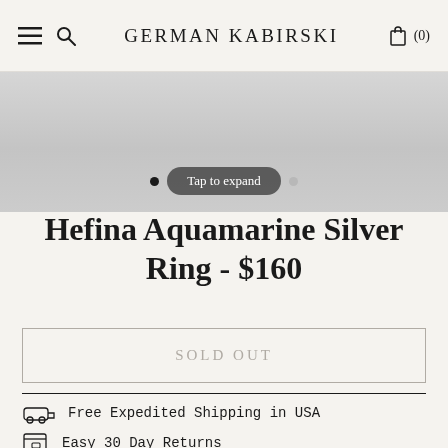GERMAN KABIRSKI
[Figure (screenshot): Product image carousel area with navigation dots and 'Tap to expand' button overlay]
Hefina Aquamarine Silver Ring - $160
SOLD OUT
Free Expedited Shipping in USA
Easy 30 Day Returns
1 Year Warranty